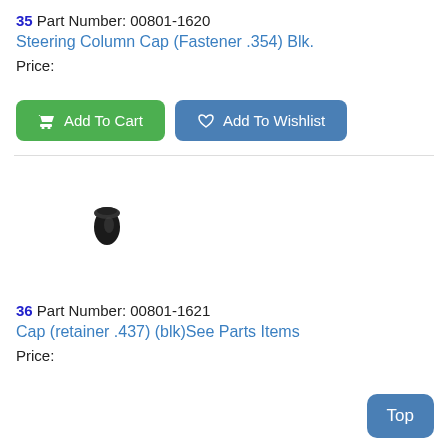35 Part Number: 00801-1620
Steering Column Cap (Fastener .354) Blk.
Price:
[Figure (other): Green Add To Cart button and blue Add To Wishlist button]
[Figure (photo): Small black steering column cap part on white background]
36 Part Number: 00801-1621
Cap (retainer .437) (blk)See Parts Items
Price: